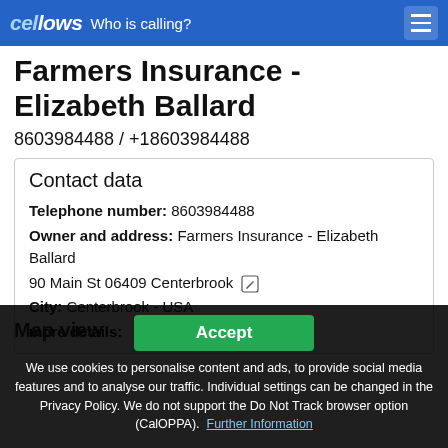cellows Who is calling?
Farmers Insurance - Elizabeth Ballard
8603984488 / +18603984488
Contact data
Telephone number: 8603984488
Owner and address: Farmers Insurance - Elizabeth Ballard
90 Main St 06409 Centerbrook
City: Centerbrook - USA
more details:
We use cookies to personalise content and ads, to provide social media features and to analyse our traffic. Individual settings can be changed in the Privacy Policy. We do not support the Do Not Track browser option (CalOPPA). Further Information
Map view